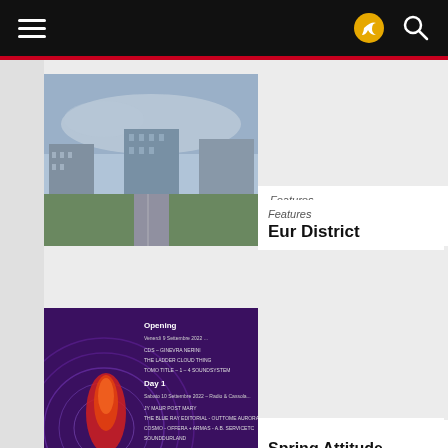Navigation bar with hamburger menu, share icon, and search icon
[Figure (photo): Aerial view of EUR District in Rome, showing modernist buildings and wide boulevards]
Features
Eur District
[Figure (photo): Purple event poster for Spring Attitude Festival 2022 with schedule details]
Events in Rome
Spring Attitude Festival 2022
[Figure (photo): Portrait photo of a person holding their face in their hands, eyes closed]
Events in Rome
Rome's Live Music Concerts in September